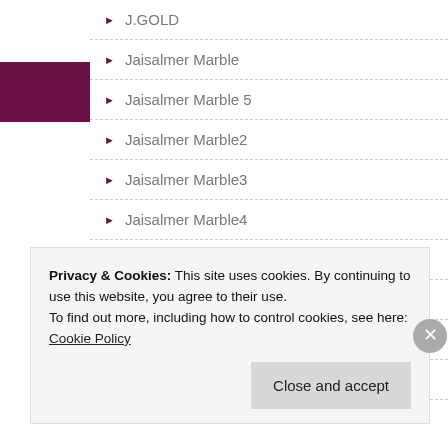J.GOLD
Jaisalmer Marble
Jaisalmer Marble 5
Jaisalmer Marble2
Jaisalmer Marble3
Jaisalmer Marble4
Jaisalmer yellow marble
JEM GRANITE
Jem Red Granite
Jhansi Red
Privacy & Cookies: This site uses cookies. By continuing to use this website, you agree to their use.
To find out more, including how to control cookies, see here: Cookie Policy
Close and accept